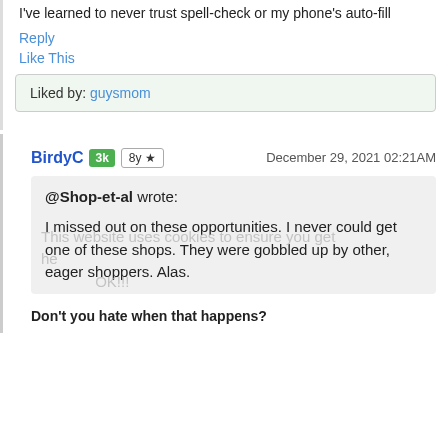I've learned to never trust spell-check or my phone's auto-fill
Reply
Like This
Liked by: guysmom
BirdyC  3k  8y ★  December 29, 2021 02:21AM
@Shop-et-al wrote:
I missed out on these opportunities. I never could get one of these shops. They were gobbled up by other, eager shoppers. Alas.
Don't you hate when that happens?